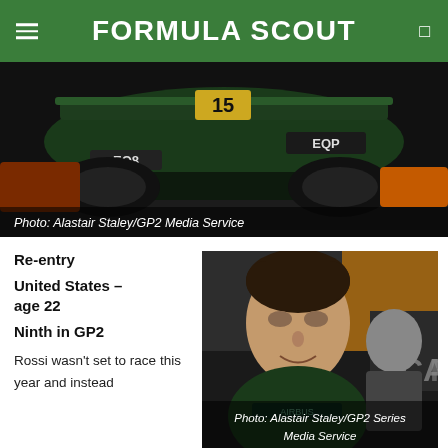FORMULA SCOUT
[Figure (photo): Formula racing car (number 15, green and black livery with EQ8/EQP branding) on track, rear view]
Photo: Alastair Staley/GP2 Media Service
Re-entry
United States – age 22
Ninth in GP2
Rossi wasn't set to race this year and instead
[Figure (photo): Young male racing driver in dark green team uniform, smiling, in a pit lane environment]
Photo: Alastair Staley/GP2 Series Media Service
concentrate on Friday practice outings with the Caterham F1 Team, but the opportunity came up to race for their GP2 squad